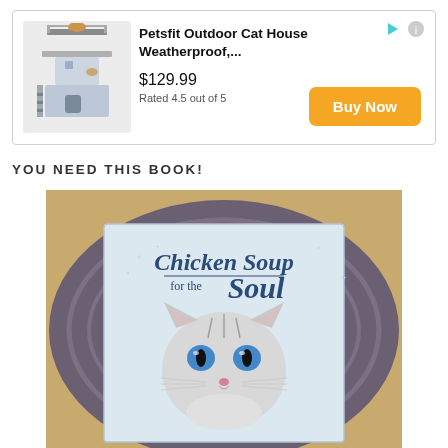[Figure (other): Advertisement banner: Petsfit Outdoor Cat House Weatherproof product ad with product image (cat on multi-level house structure), price $129.99, rating 'Rated 4.5 out of 5', and orange 'Buy Now' button. Small play and info icons in top-right corner of banner.]
YOU NEED THIS BOOK!
[Figure (photo): Photo of the book 'Chicken Soup for the Soul' lying on a purple/brown woven mat on a wooden surface. The book cover features a silver tabby cat with striking blue eyes. The title 'Chicken Soup for the Soul' is displayed in blue script/serif text on the cover.]